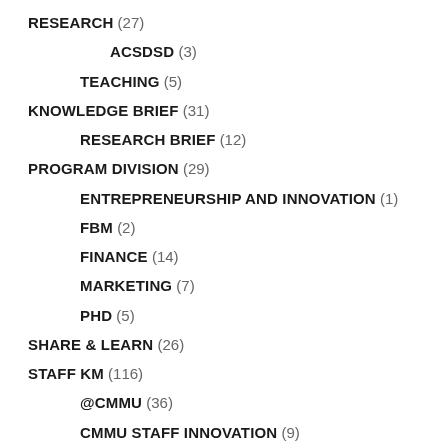RESEARCH (27)
ACSDSD (3)
TEACHING (5)
KNOWLEDGE BRIEF (31)
RESEARCH BRIEF (12)
PROGRAM DIVISION (29)
ENTREPRENEURSHIP AND INNOVATION (1)
FBM (2)
FINANCE (14)
MARKETING (7)
PHD (5)
SHARE & LEARN (26)
STAFF KM (116)
@CMMU (36)
CMMU STAFF INNOVATION (9)